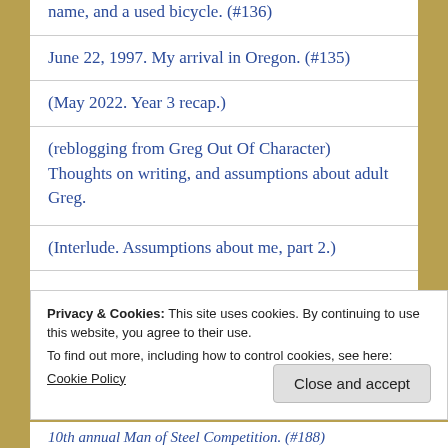name, and a used bicycle. (#136)
June 22, 1997. My arrival in Oregon. (#135)
(May 2022. Year 3 recap.)
(reblogging from Greg Out Of Character) Thoughts on writing, and assumptions about adult Greg.
(Interlude. Assumptions about me, part 2.)
Privacy & Cookies: This site uses cookies. By continuing to use this website, you agree to their use.
To find out more, including how to control cookies, see here: Cookie Policy
10th annual Man of Steel Competition. (#188)